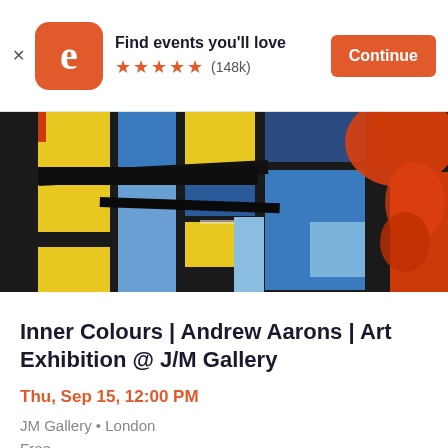Find events you'll love ★★★★★ (148k) Continue
[Figure (photo): Abstract painting with bold blue, yellow, black, and orange-red shapes in an expressionist style by Andrew Aarons]
Inner Colours | Andrew Aarons | Art Exhibition @ J/M Gallery
Thu, Sep 15, 12:00 PM
JM Gallery • London
Free